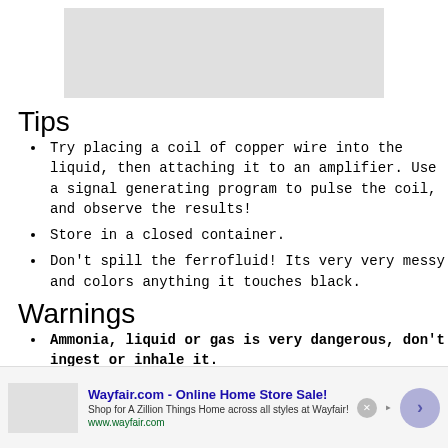[Figure (photo): Gray placeholder image at top of page]
Tips
Try placing a coil of copper wire into the liquid, then attaching it to an amplifier. Use a signal generating program to pulse the coil, and observe the results!
Store in a closed container.
Don't spill the ferrofluid! Its very very messy and colors anything it touches black.
Warnings
Ammonia, liquid or gas is very dangerous, don't ingest or inhale it.